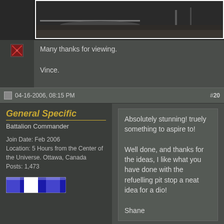[Figure (photo): Black and white photograph showing ground with tools/implements, partially cropped at top]
Many thanks for viewing.

Vince.
04-16-2006, 08:15 PM  #20
General Specific
Battalion Commander
Join Date: Feb 2006
Location: 5 Hours from the Center of the Universe. Ottawa, Canada
Posts: 1,473
[Figure (illustration): Blue and white military ribbon bar decoration]
Absolutely stunning! truely something to aspire to!

Well done, and thanks for the ideas, I like what you have done with the refuelling pit stop a neat idea for a dio!

Shane
Slainte
Live in Canada? Click on the Link Below, & Visit our site...
Ottawa 1/6th Club